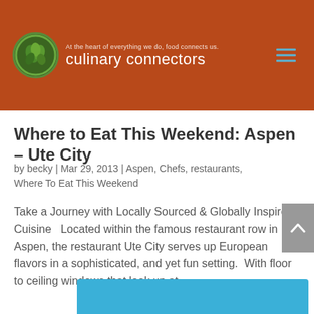[Figure (logo): Culinary Connectors logo with green circular leaf emblem and white text reading 'culinary connectors' on a rust/terracotta brown header background. Tagline reads 'At the heart of everything we do, food connects us.' Hamburger menu icon in top right.]
Where to Eat This Weekend: Aspen – Ute City
by becky | Mar 29, 2013 | Aspen, Chefs, restaurants, Where To Eat This Weekend
Take a Journey with Locally Sourced & Globally Inspired Cuisine   Located within the famous restaurant row in Aspen, the restaurant Ute City serves up European flavors in a sophisticated, and yet fun setting.  With floor to ceiling windows that look up at...